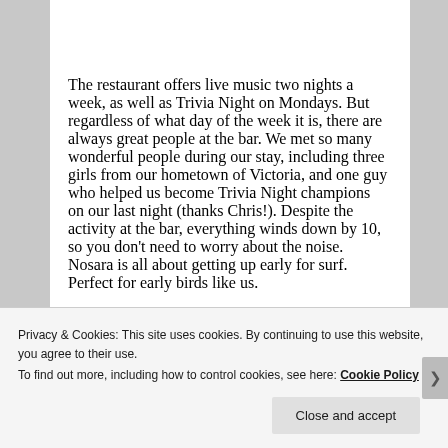The restaurant offers live music two nights a week, as well as Trivia Night on Mondays. But regardless of what day of the week it is, there are always great people at the bar. We met so many wonderful people during our stay, including three girls from our hometown of Victoria, and one guy who helped us become Trivia Night champions on our last night (thanks Chris!). Despite the activity at the bar, everything winds down by 10, so you don't need to worry about the noise. Nosara is all about getting up early for surf. Perfect for early birds like us.
[Figure (photo): Partial view of a photo with an orange/brown colored header bar, partially obscured by cookie banner]
Privacy & Cookies: This site uses cookies. By continuing to use this website, you agree to their use.
To find out more, including how to control cookies, see here: Cookie Policy